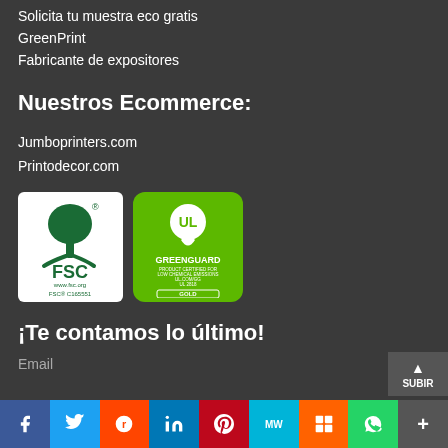Solicita tu muestra eco gratis
GreenPrint
Fabricante de expositores
Nuestros Ecommerce:
Jumboprinters.com
Printodecor.com
[Figure (logo): FSC certification logo with tree symbol, www.fsc.org, FSC® C165551]
[Figure (logo): GREENGUARD Gold certification logo with UL symbol, product certified for low chemical emissions]
¡Te contamos lo último!
Email
f  Twitter  Reddit  in  Pinterest  MW  Mix  WhatsApp  More | SUBIR